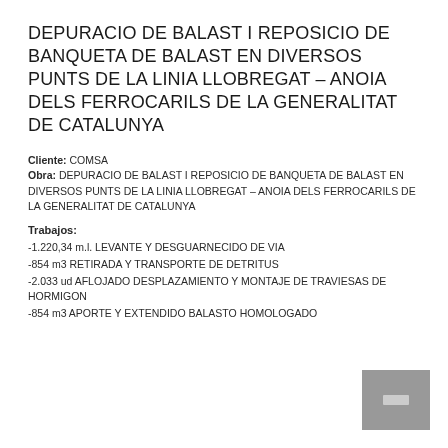DEPURACIO DE BALAST I REPOSICIO DE BANQUETA DE BALAST EN DIVERSOS PUNTS DE LA LINIA LLOBREGAT – ANOIA DELS FERROCARILS DE LA GENERALITAT DE CATALUNYA
Cliente: COMSA
Obra: DEPURACIO DE BALAST I REPOSICIO DE BANQUETA DE BALAST EN DIVERSOS PUNTS DE LA LINIA LLOBREGAT – ANOIA DELS FERROCARILS DE LA GENERALITAT DE CATALUNYA
Trabajos:
-1.220,34 m.l. LEVANTE Y DESGUARNECIDO DE VIA
-854 m3 RETIRADA Y TRANSPORTE DE DETRITUS
-2.033 ud AFLOJADO DESPLAZAMIENTO Y MONTAJE DE TRAVIESAS DE HORMIGON
-854 m3 APORTE Y EXTENDIDO BALASTO HOMOLOGADO